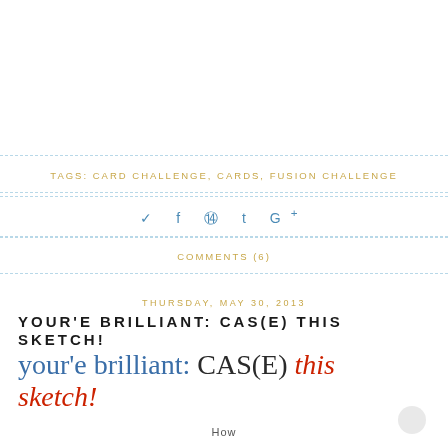TAGS: CARD CHALLENGE, CARDS, FUSION CHALLENGE
social icons: twitter, facebook, pinterest, tumblr, google+
COMMENTS (6)
THURSDAY, MAY 30, 2013
YOUR'E BRILLIANT: CAS(E) THIS SKETCH!
your'e brilliant: CAS(E) this sketch!
How